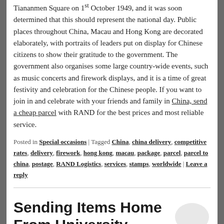Tiananmen Square on 1st October 1949, and it was soon determined that this should represent the national day. Public places throughout China, Macau and Hong Kong are decorated elaborately, with portraits of leaders put on display for Chinese citizens to show their gratitude to the government. The government also organises some large country-wide events, such as music concerts and firework displays, and it is a time of great festivity and celebration for the Chinese people. If you want to join in and celebrate with your friends and family in China, send a cheap parcel with RAND for the best prices and most reliable service.
Posted in Special occasions | Tagged China, china delivery, competitive rates, delivery, firework, hong kong, macau, package, parcel, parcel to china, postage, RAND Logistics, services, stamps, worldwide | Leave a reply
Sending Items Home From University
[Figure (illustration): Speech bubble / comment icon in light gray]
Posted on September 27, 2013